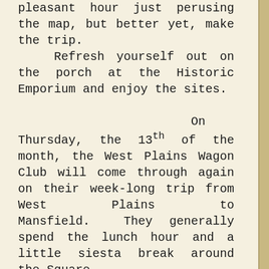pleasant hour just perusing the map, but better yet, make the trip. Refresh yourself out on the porch at the Historic Emporium and enjoy the sites.

    On Thursday, the 13th of the month, the West Plains Wagon Club will come through again on their week-long trip from West Plains to Mansfield. They generally spend the lunch hour and a little siesta break around the Square.